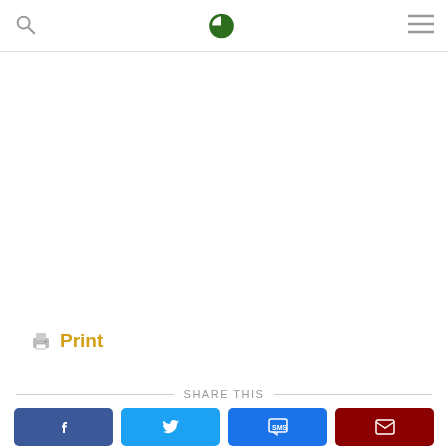[Figure (screenshot): Website navigation header with search icon on left, green circular logo (D) in center, hamburger menu on right]
🖨 Print
SHARE THIS
[Figure (infographic): Social share buttons: Facebook (blue), Twitter (light blue), SMS (blue), Email (dark red)]